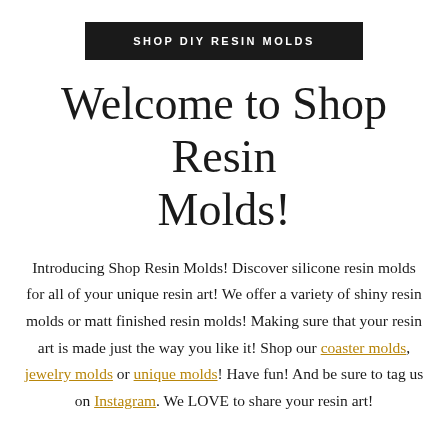SHOP DIY RESIN MOLDS
Welcome to Shop Resin Molds!
Introducing Shop Resin Molds! Discover silicone resin molds for all of your unique resin art! We offer a variety of shiny resin molds or matt finished resin molds! Making sure that your resin art is made just the way you like it! Shop our coaster molds, jewelry molds or unique molds! Have fun! And be sure to tag us on Instagram. We LOVE to share your resin art!